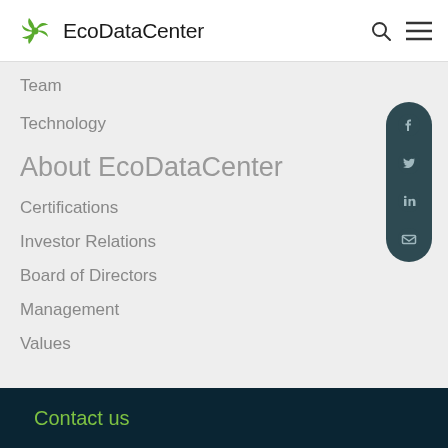EcoDataCenter
Team
Technology
About EcoDataCenter
Certifications
Investor Relations
Board of Directors
Management
Values
Contact us